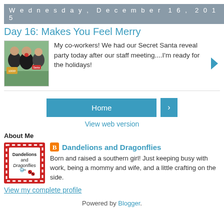Wednesday, December 16, 2015
Day 16: Makes You Feel Merry
My co-workers! We had our Secret Santa reveal party today after our staff meeting....I'm ready for the holidays!
Home
View web version
About Me
Dandelions and Dragonflies
Born and raised a southern girl! Just keeping busy with work, being a mommy and wife, and a little crafting on the side.
View my complete profile
Powered by Blogger.